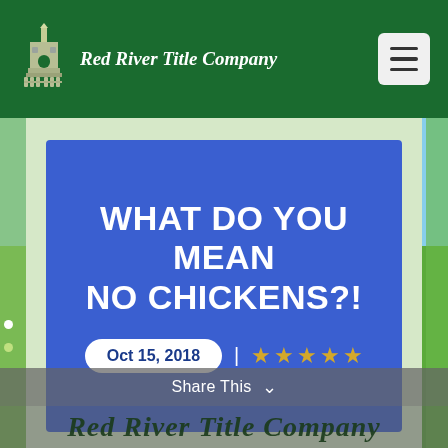Red River Title Company
WHAT DO YOU MEAN NO CHICKENS?!
Oct 15, 2018
Share This
Red River Title Company